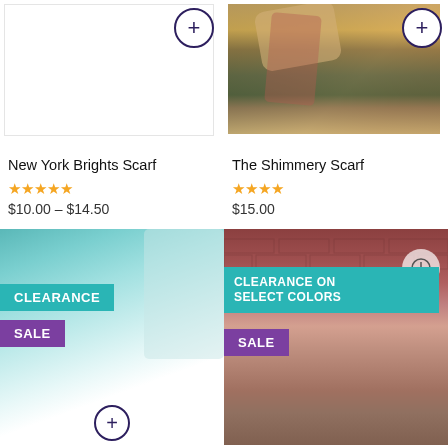[Figure (photo): Product image area for New York Brights Scarf (white/blank)]
New York Brights Scarf
[Figure (other): 5 orange stars rating]
$10.00 – $14.50
[Figure (photo): Photo of woman wearing scarf outdoors with autumn foliage background]
The Shimmery Scarf
[Figure (other): 4.5 orange stars rating]
$15.00
[Figure (photo): Product card with teal background showing CLEARANCE SALE badge overlay, man wearing teal scarf]
[Figure (photo): Product card with photo of smiling woman against brick wall, showing CLEARANCE ON SELECT COLORS and SALE badges]